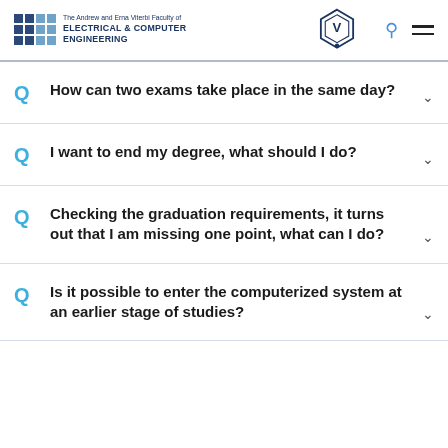The Andrew and Erna Viterbi Faculty of ELECTRICAL & COMPUTER ENGINEERING
Q  How can two exams take place in the same day?
Q  I want to end my degree, what should I do?
Q  Checking the graduation requirements, it turns out that I am missing one point, what can I do?
Q  Is it possible to enter the computerized system at an earlier stage of studies?